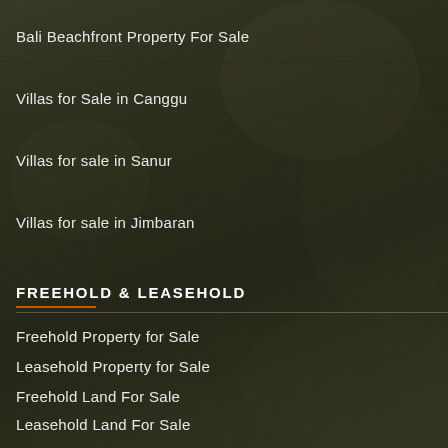Bali Beachfront Property For Sale
Villas for Sale in Canggu
Villas for sale in Sanur
Villas for sale in Jimbaran
FREEHOLD & LEASEHOLD
Freehold Property for Sale
Leasehold Property for Sale
Freehold Land For Sale
Leasehold Land For Sale
SELL/RENT MY PROPERTY